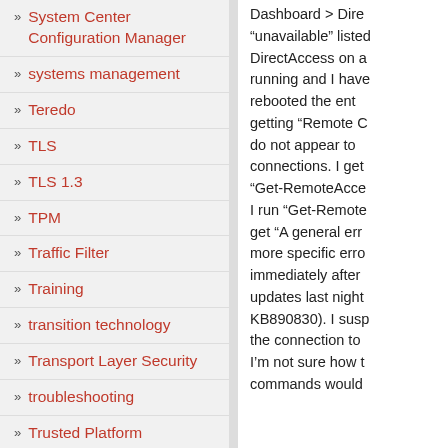» System Center Configuration Manager
» systems management
» Teredo
» TLS
» TLS 1.3
» TPM
» Traffic Filter
» Training
» transition technology
» Transport Layer Security
» troubleshooting
» Trusted Platform
Dashboard > Dire “unavailable” listed DirectAccess on a running and I have rebooted the ent getting “Remote C do not appear to connections. I get “Get-RemoteAcce I run “Get-Remote get “A general err more specific erro immediately after updates last night KB890830). I susp the connection to I’m not sure how t commands would